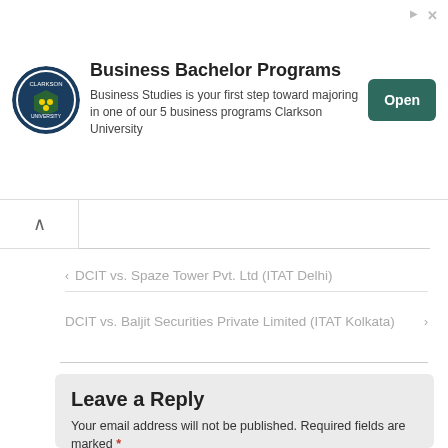[Figure (other): Advertisement banner for Clarkson University Business Bachelor Programs, with university logo, text description, and Open button]
‹ DCIT vs. Spaze Tower Pvt. Ltd (ITAT Delhi)
DCIT vs. Baljit Securities Private Limited (ITAT Kolkata) ›
Leave a Reply
Your email address will not be published. Required fields are marked *
Comment *